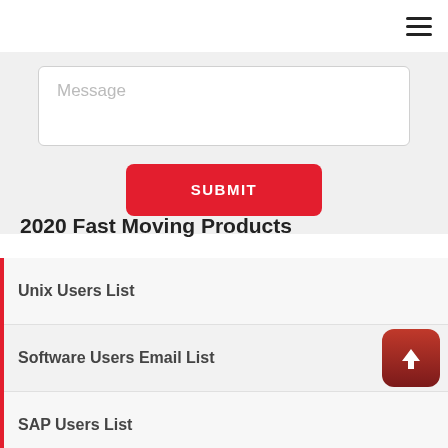≡
Message
SUBMIT
2020 Fast Moving Products
Unix Users List
Software Users Email List
SAP Users List
Quickbooks Users List